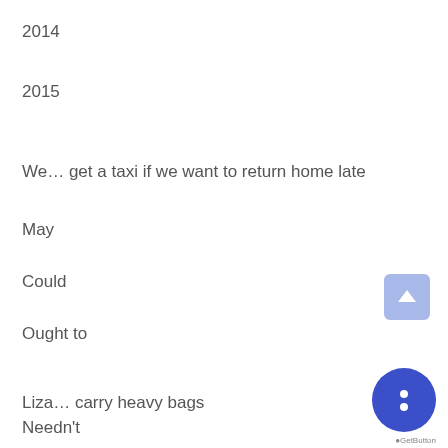2014
2015
We… get a taxi if we want to return home late
May
Could
Ought to
Liza… carry heavy bags
Needn't
Is not to